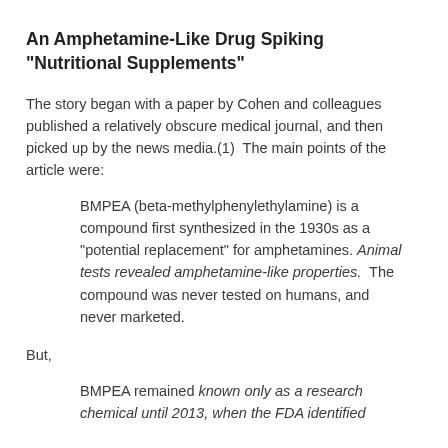An Amphetamine-Like Drug Spiking "Nutritional Supplements"
The story began with a paper by Cohen and colleagues published a relatively obscure medical journal, and then picked up by the news media.(1)  The main points of the article were:
BMPEA (beta-methylphenylethylamine) is a compound first synthesized in the 1930s as a "potential replacement" for amphetamines. Animal tests revealed amphetamine-like properties.  The compound was never tested on humans, and never marketed.
But,
BMPEA remained known only as a research chemical until 2013, when the FDA identified